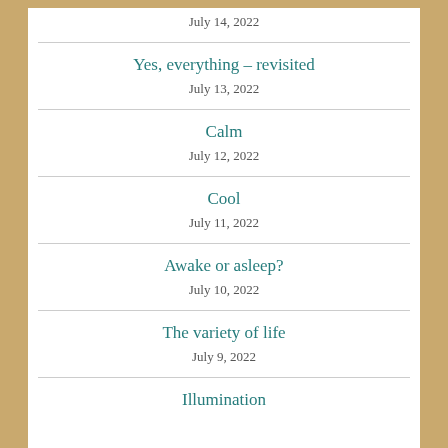July 14, 2022
Yes, everything – revisited
July 13, 2022
Calm
July 12, 2022
Cool
July 11, 2022
Awake or asleep?
July 10, 2022
The variety of life
July 9, 2022
Illumination